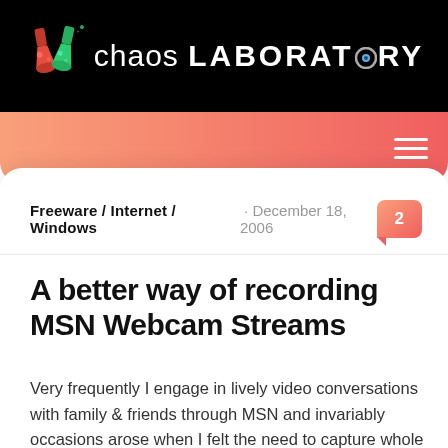[Figure (logo): Chaos Laboratory logo with two laboratory flasks (red and green) and text 'chaos LABORATORY' on black background]
Freeware / Internet / Windows · December 18, 2006  2
A better way of recording MSN Webcam Streams
Very frequently I engage in lively video conversations with family & friends through MSN and invariably occasions arose when I felt the need to capture whole conversations or at least short video clips. You just can't let some memorable moments